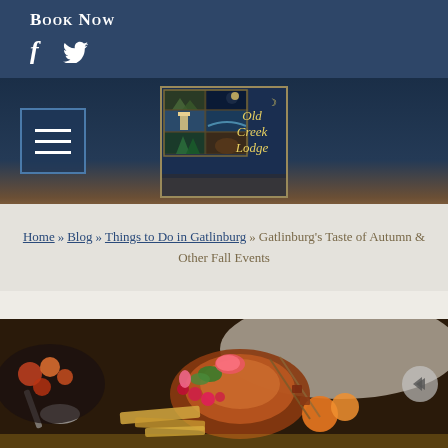Book Now
[Figure (logo): Old Creek Lodge logo with illustrated panels showing nature scenes, moon symbol, and stylized text in gold on dark blue background]
Home » Blog » Things to Do in Gatlinburg » Gatlinburg's Taste of Autumn & Other Fall Events
[Figure (photo): Close-up food photography showing an autumn/fall feast spread with roasted meats, fresh fruits including raspberries and oranges, colorful vegetables, and crackers arranged on a table with white cloth]